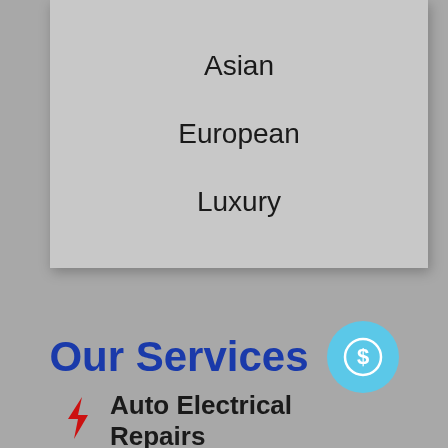Asian
European
Luxury
Our Services
Auto Electrical Repairs